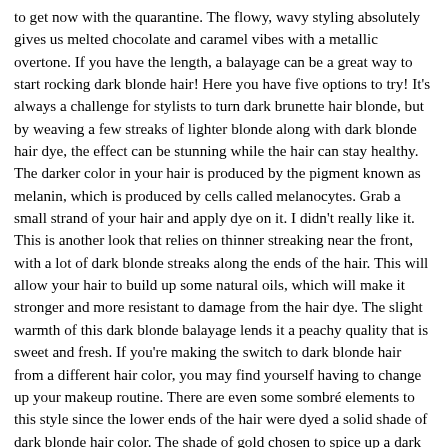to get now with the quarantine. The flowy, wavy styling absolutely gives us melted chocolate and caramel vibes with a metallic overtone. If you have the length, a balayage can be a great way to start rocking dark blonde hair! Here you have five options to try! It's always a challenge for stylists to turn dark brunette hair blonde, but by weaving a few streaks of lighter blonde along with dark blonde hair dye, the effect can be stunning while the hair can stay healthy. The darker color in your hair is produced by the pigment known as melanin, which is produced by cells called melanocytes. Grab a small strand of your hair and apply dye on it. I didn't really like it. This is another look that relies on thinner streaking near the front, with a lot of dark blonde streaks along the ends of the hair. This will allow your hair to build up some natural oils, which will make it stronger and more resistant to damage from the hair dye. The slight warmth of this dark blonde balayage lends it a peachy quality that is sweet and fresh. If you're making the switch to dark blonde hair from a different hair color, you may find yourself having to change up your makeup routine. There are even some sombré elements to this style since the lower ends of the hair were dyed a solid shade of dark blonde hair color. The shade of gold chosen to spice up a dark brown base has a lot of yellow and amber undertones, so it shimmers like metal in the light. • If you'll be making your hair lighter, you can boost the strength of your hair by using a protein hair mask the day before you are planning to dye it. As a result, it flatters all skin tones, including cool, warm, olive,